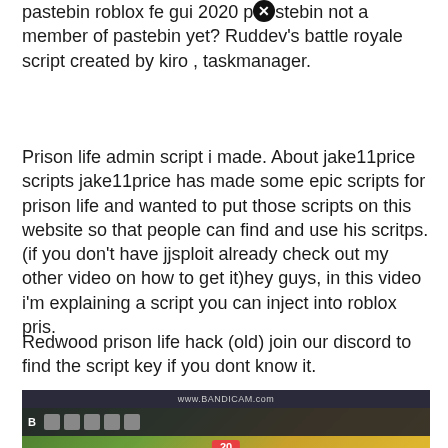pastebin roblox fe gui 2020 pastebin not a member of pastebin yet? Ruddev's battle royale script created by kiro , taskmanager.
Prison life admin script i made. About jake11price scripts jake11price has made some epic scripts for prison life and wanted to put those scripts on this website so that people can find and use his scritps. (if you don't have jjsploit already check out my other video on how to get it)hey guys, in this video i'm explaining a script you can inject into roblox pris.
Redwood prison life hack (old) join our discord to find the script key if you dont know it.
[Figure (screenshot): Screenshot of a Roblox prison life game with Bandicam recording overlay, showing game interface with stop/start buttons and a close button]